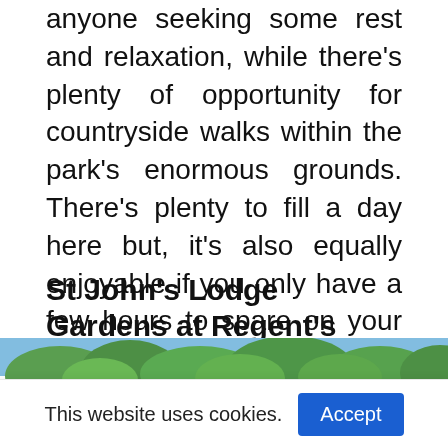anyone seeking some rest and relaxation, while there's plenty of opportunity for countryside walks within the park's enormous grounds. There's plenty to fill a day here but, it's also equally enjoyable if you only have a few hours to spare on your itinerary.
Find out more about visiting Holland Park whilst staying at Shaftesbury Metropolis London Hyde Park here.
St John's Lodge Gardens at Regent's Park
[Figure (photo): Partial photo of trees and blue sky, cropped at bottom of page]
This website uses cookies. Accept